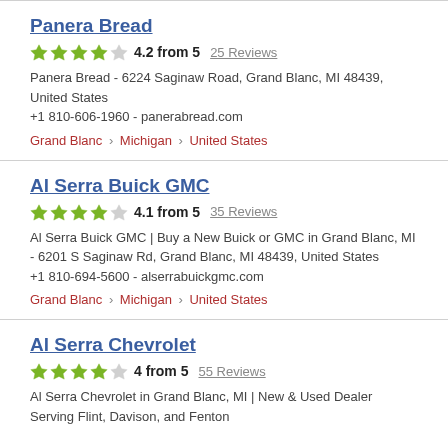Panera Bread
4.2 from 5  25 Reviews
Panera Bread - 6224 Saginaw Road, Grand Blanc, MI 48439, United States +1 810-606-1960 - panerabread.com
Grand Blanc › Michigan › United States
Al Serra Buick GMC
4.1 from 5  35 Reviews
Al Serra Buick GMC | Buy a New Buick or GMC in Grand Blanc, MI - 6201 S Saginaw Rd, Grand Blanc, MI 48439, United States +1 810-694-5600 - alserrabuickgmc.com
Grand Blanc › Michigan › United States
Al Serra Chevrolet
4 from 5  55 Reviews
Al Serra Chevrolet in Grand Blanc, MI | New & Used Dealer Serving Flint, Davison, and Fenton